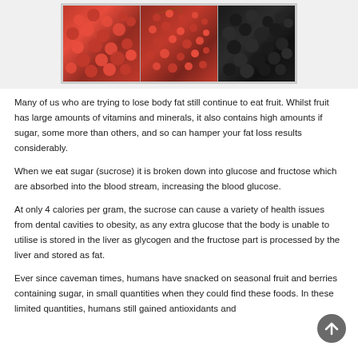[Figure (photo): Three boxes of berries side by side: raspberries (red), red currants, and blackberries, photographed from above.]
Many of us who are trying to lose body fat still continue to eat fruit. Whilst fruit has large amounts of vitamins and minerals, it also contains high amounts if sugar, some more than others, and so can hamper your fat loss results considerably.
When we eat sugar (sucrose) it is broken down into glucose and fructose which are absorbed into the blood stream, increasing the blood glucose.
At only 4 calories per gram, the sucrose can cause a variety of health issues from dental cavities to obesity, as any extra glucose that the body is unable to utilise is stored in the liver as glycogen and the fructose part is processed by the liver and stored as fat.
Ever since caveman times, humans have snacked on seasonal fruit and berries containing sugar, in small quantities when they could find these foods. In these limited quantities, humans still gained antioxidants and